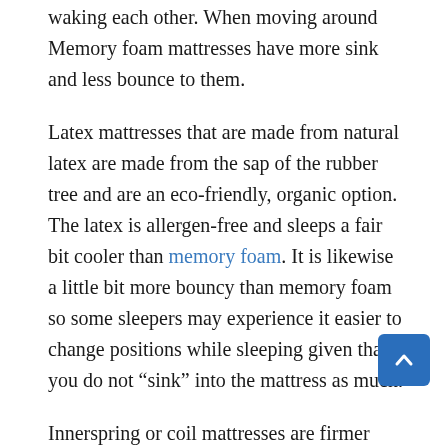waking each other. When moving around Memory foam mattresses have more sink and less bounce to them.
Latex mattresses that are made from natural latex are made from the sap of the rubber tree and are an eco-friendly, organic option. The latex is allergen-free and sleeps a fair bit cooler than memory foam. It is likewise a little bit more bouncy than memory foam so some sleepers may experience it easier to change positions while sleeping given that you do not “sink” into the mattress as much.
Innerspring or coil mattresses are firmer than memory foam and a lot more bouncy.
They provide little to no motion isolation, so you will